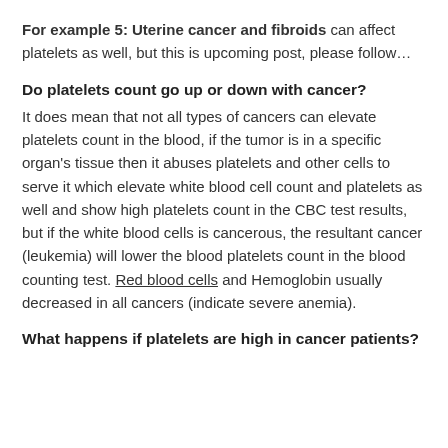For example 5: Uterine cancer and fibroids can affect platelets as well, but this is upcoming post, please follow…
Do platelets count go up or down with cancer?
It does mean that not all types of cancers can elevate platelets count in the blood, if the tumor is in a specific organ's tissue then it abuses platelets and other cells to serve it which elevate white blood cell count and platelets as well and show high platelets count in the CBC test results, but if the white blood cells is cancerous, the resultant cancer (leukemia) will lower the blood platelets count in the blood counting test. Red blood cells and Hemoglobin usually decreased in all cancers (indicate severe anemia).
What happens if platelets are high in cancer patients?